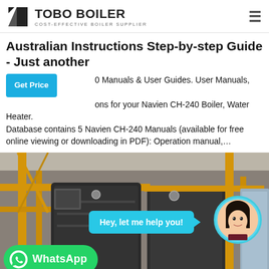TOBO BOILER — COST-EFFECTIVE BOILER SUPPLIER
Australian Instructions Step-by-step Guide - Just another
Manuals & User Guides. User Manuals, Guides and Specifications for your Navien CH-240 Boiler, Water Heater. Database contains 5 Navien CH-240 Manuals (available for free online viewing or downloading in PDF): Operation manual,…
[Figure (photo): Industrial boiler facility showing large dark cylindrical boiler units with yellow pipework and scaffolding, red components visible at the bottom. A chat assistant bubble reads 'Hey, let me help you!' with a female avatar in a teal circle. A WhatsApp button with icon and text 'WhatsApp' appears in the lower left.]